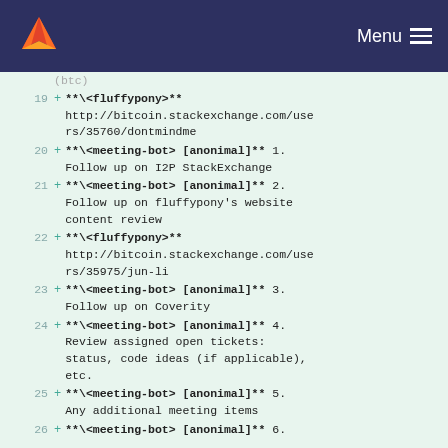Menu
19 + **\<fluffypony>** http://bitcoin.stackexchange.com/users/35760/dontmindme
20 + **\<meeting-bot> [anonimal]** 1. Follow up on I2P StackExchange
21 + **\<meeting-bot> [anonimal]** 2. Follow up on fluffypony's website content review
22 + **\<fluffypony>** http://bitcoin.stackexchange.com/users/35975/jun-li
23 + **\<meeting-bot> [anonimal]** 3. Follow up on Coverity
24 + **\<meeting-bot> [anonimal]** 4. Review assigned open tickets: status, code ideas (if applicable), etc.
25 + **\<meeting-bot> [anonimal]** 5. Any additional meeting items
26 + **\<meeting-bot> [anonimal]** 6. ...